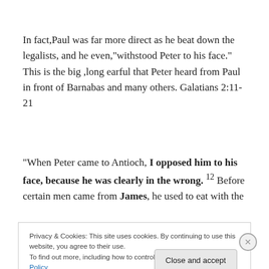In fact,Paul was far more direct as he beat down the legalists, and he even,"withstood Peter to his face." This is the big ,long earful that Peter heard from Paul in front of Barnabas and many others. Galatians 2:11- 21
“When Peter came to Antioch, I opposed him to his face, because he was clearly in the wrong. 12 Before certain men came from James, he used to eat with the
Privacy & Cookies: This site uses cookies. By continuing to use this website, you agree to their use.
To find out more, including how to control cookies, see here: Cookie Policy